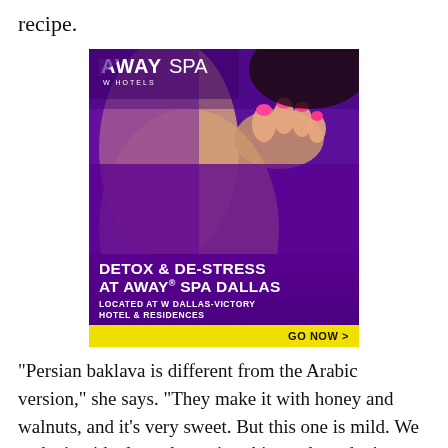recipe.
[Figure (photo): Advertisement for Away Spa at W Hotels Dallas. Shows a person receiving a massage with purple/blue lighting. Text reads: AWAY SPA / W HOTELS / DETOX & DE-STRESS AT AWAY® SPA DALLAS / LOCATED AT W DALLAS-VICTORY HOTEL & RESIDENCES / GO NOW >]
"Persian baklava is different from the Arabic version," she says. "They make it with honey and walnuts, and it's very sweet. But this one is mild. We make it with almonds or pistachio, and we don't use honey."
Additionally, the Persian baklava has a more nuanced...